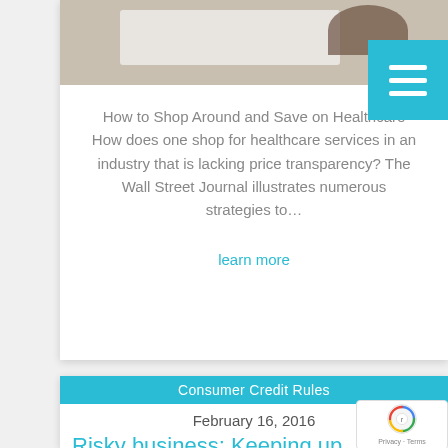[Figure (photo): Photo of person typing on a laptop keyboard, viewed from above]
How to Shop Around and Save on Healthcare How does one shop for healthcare services in an industry that is lacking price transparency? The Wall Street Journal illustrates numerous strategies to…
learn more
Consumer Credit Rules
February 16, 2016
Risky business: Keeping up